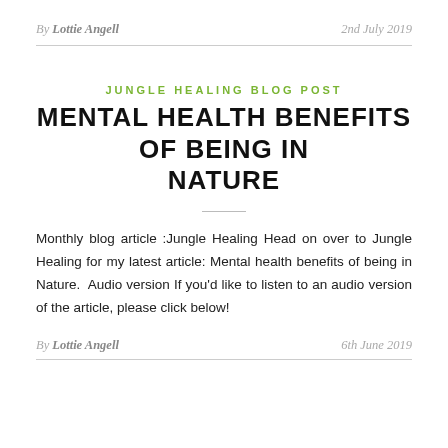By Lottie Angell   2nd July 2019
JUNGLE HEALING BLOG POST
MENTAL HEALTH BENEFITS OF BEING IN NATURE
Monthly blog article :Jungle Healing Head on over to Jungle Healing for my latest article: Mental health benefits of being in Nature.  Audio version If you'd like to listen to an audio version of the article, please click below!
By Lottie Angell   6th June 2019